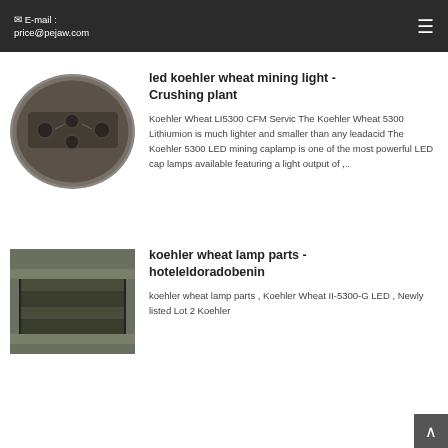E-mail : price@pejaw.com
[Figure (photo): Industrial machine part, oval/ellipse cropped photo showing dark metal surface with holes]
led koehler wheat mining light - Crushing plant
Koehler Wheat LI5300 CFM Servic The Koehler Wheat 5300 Lithiumion is much lighter and smaller than any leadacid The Koehler 5300 LED mining caplamp is one of the most powerful LED cap lamps available featuring a light output of ,..
[Figure (photo): Industrial equipment, rectangular dark metal structure in warehouse/factory setting]
koehler wheat lamp parts - hoteleldoradobenin
koehler wheat lamp parts , Koehler Wheat II-5300-G LED , Newly listed Lot 2 Koehler